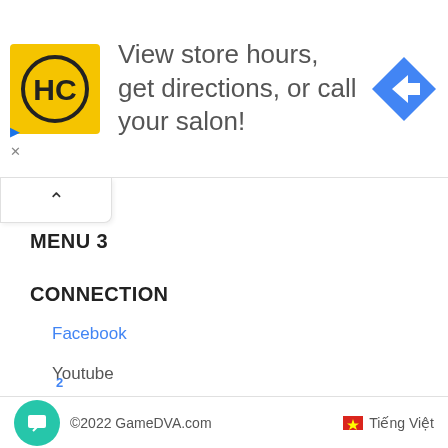[Figure (screenshot): Advertisement banner with HC logo (yellow square), text 'View store hours, get directions, or call your salon!', blue diamond arrow icon, play and close icons]
MENU 3
CONNECTION
Facebook
Youtube
Pinterest
© 2022 GameDVA.com   🇻🇳 Tiếng Việt